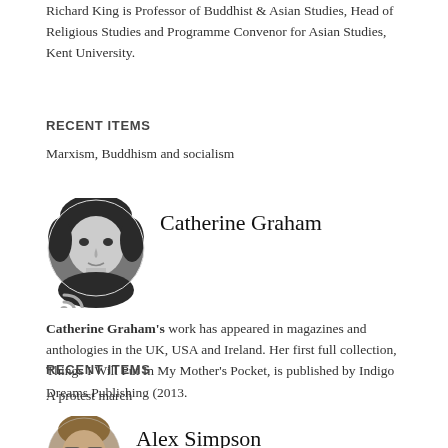Richard King is Professor of Buddhist & Asian Studies, Head of Religious Studies and Programme Convenor for Asian Studies, Kent University.
RECENT ITEMS
Marxism, Buddhism and socialism
[Figure (photo): Black and white circular portrait photo of Catherine Graham with RSS feed icon below]
Catherine Graham
Catherine Graham's work has appeared in magazines and anthologies in the UK, USA and Ireland. Her first full collection, Things I Will Put In My Mother's Pocket, is published by Indigo Dreams Publishing (2013.
RECENT ITEMS
A protest march
[Figure (photo): Circular portrait photo of Alex Simpson]
Alex Simpson